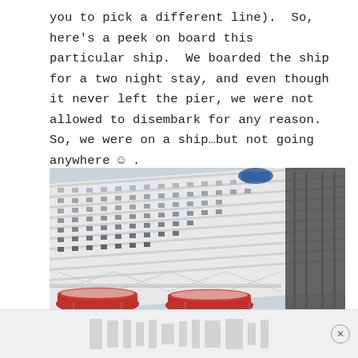you to pick a different line).  So, here's a peek on board this particular ship.  We boarded the ship for a two night stay, and even though it never left the pier, we were not allowed to disembark for any reason.  So, we were on a ship...but not going anywhere ☺ .
[Figure (photo): A large white cruise ship docked at a pier, photographed from below at an angle showing multiple decks of balconies and cabins. Red lifeboats are visible near the waterline. A blue canopy or structure is visible near the top of the ship. The sky is pale/hazy.]